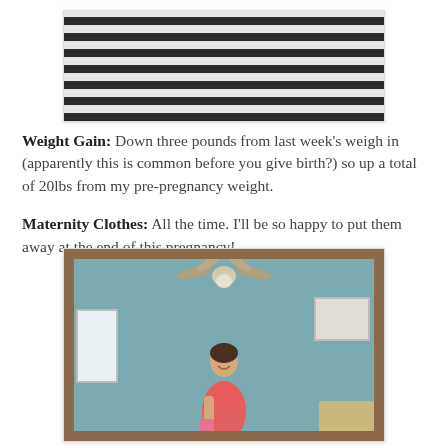[Figure (photo): Partial photo of a pregnant person wearing a black and white horizontal striped top, cropped to show torso area only]
Weight Gain: Down three pounds from last week's weigh in (apparently this is common before you give birth?) so up a total of 20lbs from my pre-pregnancy weight.
Maternity Clothes: All the time. I'll be so happy to put them away at the end of this pregnancy!
[Figure (photo): Mirror selfie of a pregnant woman in a pink tank top, smiling, holding a pink phone, in a bedroom with teal walls, ceiling fan, and decorative headboard]